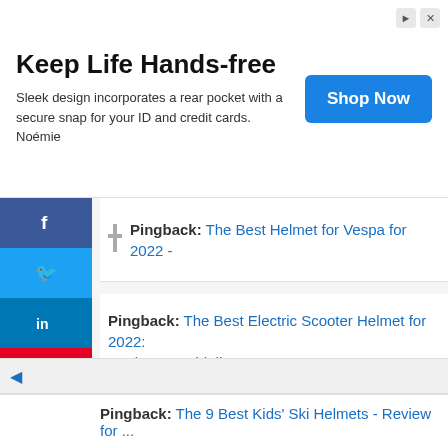[Figure (infographic): Advertisement banner: 'Keep Life Hands-free' - Sleek design incorporates a rear pocket with a secure snap for your ID and credit cards. Noémie. Blue 'Shop Now' button on right.]
Pingback: The Best Helmet for Vespa for 2022 -
Pingback: The Best Electric Scooter Helmet for 2022: Review & Guideline -
Pingback: The Best Roller Derby Helmet - Better Head Safe -
Pingback: The 9 Best Kids' Ski Helmets - Review for ...